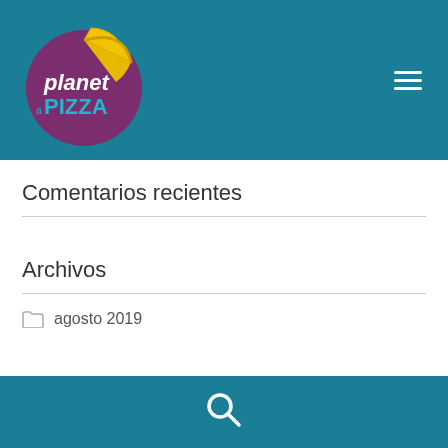[Figure (logo): Planet Pizza logo: purple circle with yellow pizza slice, white italic text 'planet' and teal text 'PIZZA']
Comentarios recientes
Archivos
agosto 2019
[Figure (illustration): Search magnifying glass icon in white on teal footer bar]